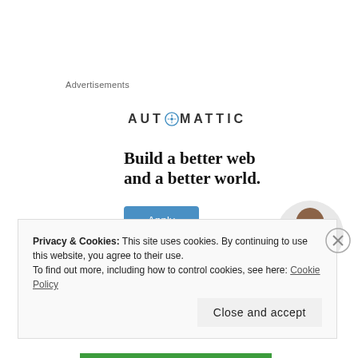Advertisements
[Figure (illustration): Automattic advertisement banner with logo, tagline 'Build a better web and a better world.', Apply button, and a photo of a person thinking.]
Privacy & Cookies: This site uses cookies. By continuing to use this website, you agree to their use. To find out more, including how to control cookies, see here: Cookie Policy
Close and accept